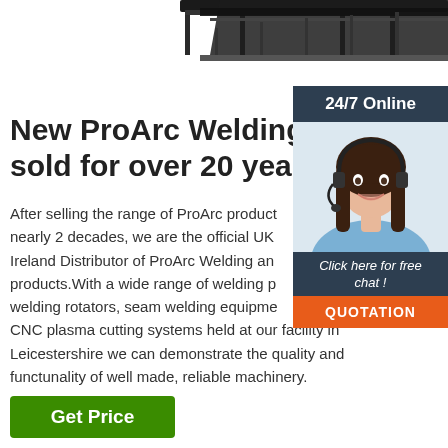[Figure (photo): Partial view of welding or industrial machinery equipment (dark metal frame/rail structure visible at top of page)]
New ProArc Welding Equipment sold for over 20 years
After selling the range of ProArc products for nearly 2 decades, we are the official UK and Ireland Distributor of ProArc Welding and cutting products.With a wide range of welding positioners, welding rotators, seam welding equipment and CNC plasma cutting systems held at our facility in Leicestershire we can demonstrate the quality and functunality of well made, reliable machinery.
[Figure (photo): 24/7 Online customer support widget with a photo of a smiling woman wearing a headset, a 'Click here for free chat!' message, and an orange QUOTATION button]
Get Price